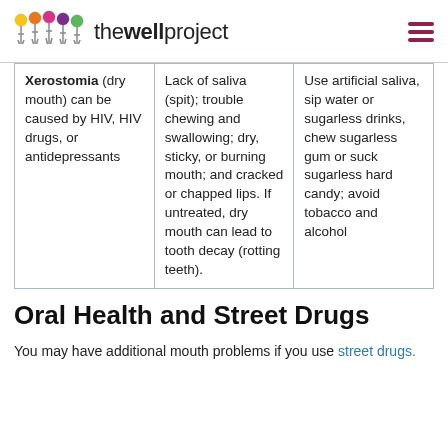thewellproject
| Xerostomia (dry mouth) can be caused by HIV, HIV drugs, or antidepressants | Lack of saliva (spit); trouble chewing and swallowing; dry, sticky, or burning mouth; and cracked or chapped lips. If untreated, dry mouth can lead to tooth decay (rotting teeth). | Use artificial saliva, sip water or sugarless drinks, chew sugarless gum or suck sugarless hard candy; avoid tobacco and alcohol |
Oral Health and Street Drugs
You may have additional mouth problems if you use street drugs.